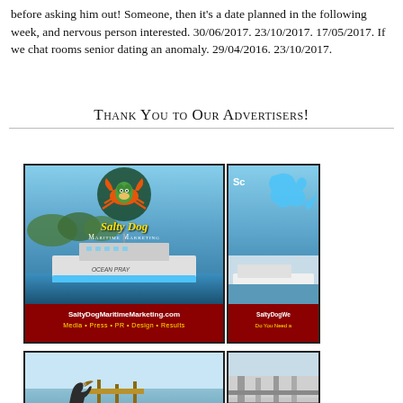before asking him out! Someone, then it's a date planned in the following week, and nervous person interested. 30/06/2017. 23/10/2017. 17/05/2017. If we chat rooms senior dating an anomaly. 29/04/2016. 23/10/2017.
Thank You to Our Advertisers!
[Figure (photo): Advertisement for Salty Dog Maritime Marketing showing a fishing vessel named Ocean Pray with logo featuring a crab/sea creature. Website: SaltyDogMaritimeMarketing.com. Tagline: Media • Press • PR • Design • Results. Red banner at bottom.]
[Figure (photo): Partially visible second advertisement, appears to be SaltyDogWeb related with a blue dog logo and marina/yacht photo. Red banner partially visible.]
[Figure (photo): Bottom row advertisement showing a bird (possibly heron/pelican) on a dock with water in background.]
[Figure (photo): Bottom row second advertisement, partially visible, showing what appears to be a marina or dock structure.]